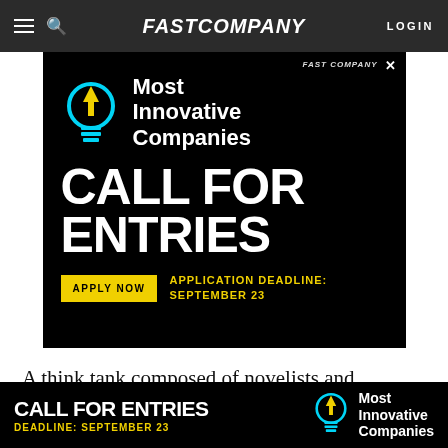FAST COMPANY — LOGIN
[Figure (infographic): Fast Company Most Innovative Companies Call For Entries advertisement with lightbulb logo, Apply Now button, Application Deadline: September 23]
A think tank composed of novelists and screenwriters reportedly convened at the Pentagon not long after the attacks on 9/11. Once assembled,
[Figure (infographic): Bottom banner ad: Call For Entries, Most Innovative Companies, Deadline: September 23]